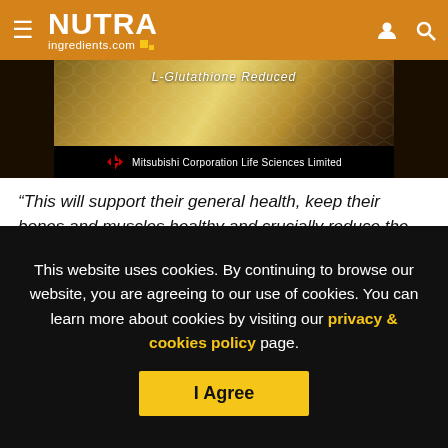NUTRA ingredients.com
[Figure (photo): Advertisement image for L-Glutathione Reduced by Mitsubishi Corporation Life Sciences Limited, with golden decorative background pattern]
“This will support their general health, keep their bones and muscles healthy and crucially reduce the pressure on our National Health Service (NHS).”
Hancock acknowledged the growing number of studies indicating vitamin D’s role in protecting against COVID-19
This website uses cookies. By continuing to browse our website, you are agreeing to our use of cookies. You can learn more about cookies by visiting our privacy & cookies policy page.